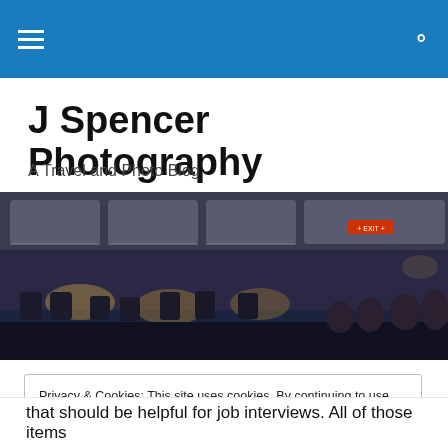≡  🔍
J Spencer Photography
A Travel and Photo Blog
[Figure (photo): Interior of an airplane cabin at night, showing overhead compartments, seat rows with passengers, and warm lighting]
Privacy & Cookies: This site uses cookies. By continuing to use this website, you agree to their use.
To find out more, including how to control cookies, see here: Cookie Policy
[Close and accept]
that should be helpful for job interviews. All of those items